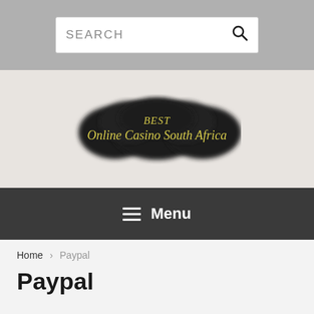SEARCH
[Figure (logo): Best Online Casino South Africa logo with dark cloud/smoke background and yellow italic text]
Menu
Home > Paypal
Paypal